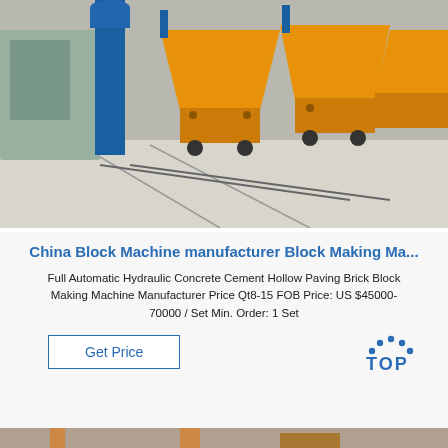[Figure (photo): Photo of yellow and blue industrial block-making machines on a factory floor with concrete surface]
China Block Machine manufacturer Block Making Ma...
Full Automatic Hydraulic Concrete Cement Hollow Paving Brick Block Making Machine Manufacturer Price Qt8-15 FOB Price: US $45000-70000 / Set Min. Order: 1 Set
[Figure (logo): TOP logo with blue dots arranged in an arc above the word TOP in blue]
Get Price
[Figure (photo): Partial view of another industrial machine at the bottom of the page]